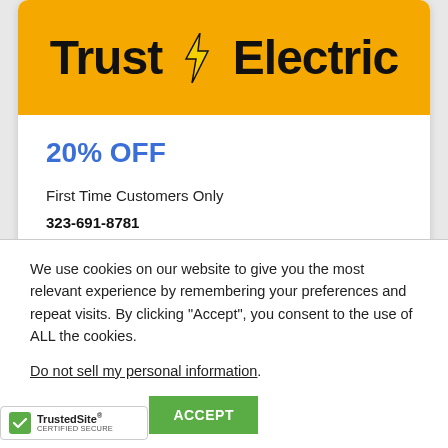[Figure (logo): Trust Electric logo with lightning bolt on yellow background]
20% OFF
First Time Customers Only
323-691-8781
We use cookies on our website to give you the most relevant experience by remembering your preferences and repeat visits. By clicking “Accept”, you consent to the use of ALL the cookies.
Do not sell my personal information.
Cookie settings  ACCEPT
[Figure (logo): TrustedSite Certified Secure badge]